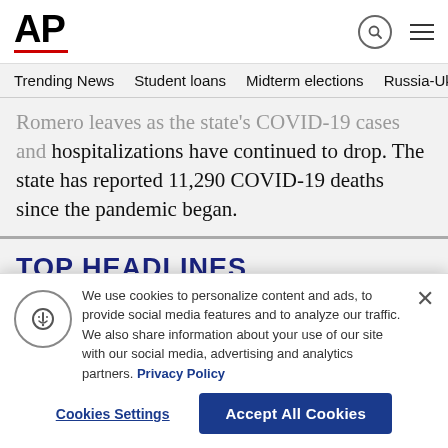[Figure (logo): AP (Associated Press) logo in black bold text with red underline]
Trending News  Student loans  Midterm elections  Russia-Ukr
Romero leaves as the state's COVID-19 cases and hospitalizations have continued to drop. The state has reported 11,290 COVID-19 deaths since the pandemic began.
TOP HEADLINES
We use cookies to personalize content and ads, to provide social media features and to analyze our traffic. We also share information about your use of our site with our social media, advertising and analytics partners. Privacy Policy
Cookies Settings
Accept All Cookies